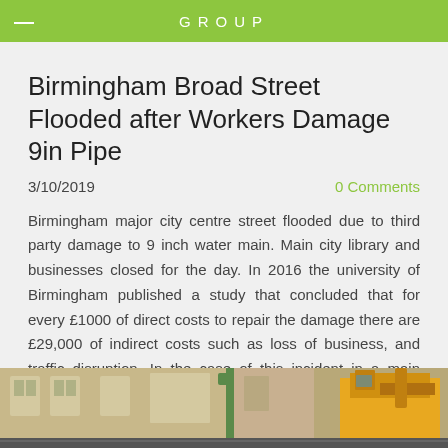GROUP
Birmingham Broad Street Flooded after Workers Damage 9in Pipe
3/10/2019
0 Comments
Birmingham major city centre street flooded due to third party damage to 9 inch water main. Main city library and businesses closed for the day. In 2016 the university of Birmingham published a study that concluded that for every £1000 of direct costs to repair the damage there are £29,000 of indirect costs such as loss of business, and traffic disruption. In the case of this incident in a main street full of restaurants and bars the value is likely to be much higher.
[Figure (photo): Street scene showing stone building facade and yellow construction machinery/excavator]